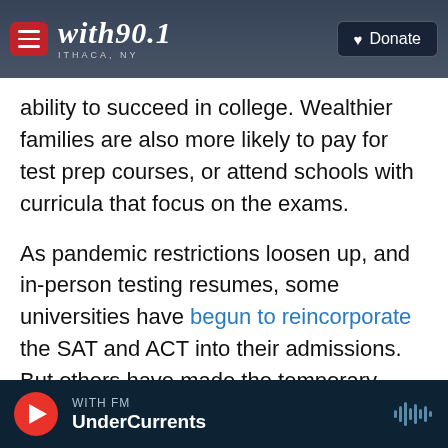with90.1 ITHACA, NY | Donate
ability to succeed in college. Wealthier families are also more likely to pay for test prep courses, or attend schools with curricula that focus on the exams.
As pandemic restrictions loosen up, and in-person testing resumes, some universities have begun to reincorporate the SAT and ACT into their admissions. But others have made the temporary changes permanent. That includes Washington state's public universities, which announced earlier this month that its schools will no longer require test scores for admission.
WITH FM | UnderCurrents